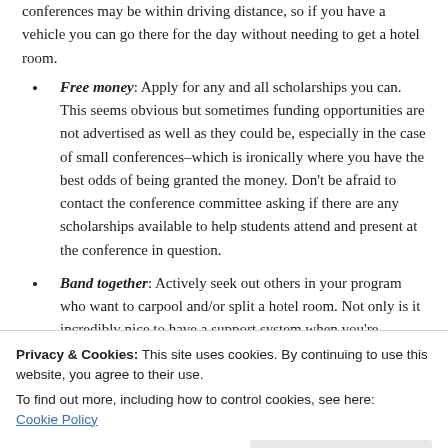conferences may be within driving distance, so if you have a vehicle you can go there for the day without needing to get a hotel room.
Free money: Apply for any and all scholarships you can. This seems obvious but sometimes funding opportunities are not advertised as well as they could be, especially in the case of small conferences–which is ironically where you have the best odds of being granted the money. Don't be afraid to contact the conference committee asking if there are any scholarships available to help students attend and present at the conference in question.
Band together: Actively seek out others in your program who want to carpool and/or split a hotel room. Not only is it incredibly nice to have a support system when you're experiencing imposter syndrome, this can really break the…
Privacy & Cookies: This site uses cookies. By continuing to use this website, you agree to their use.
To find out more, including how to control cookies, see here:
Cookie Policy
Close and accept